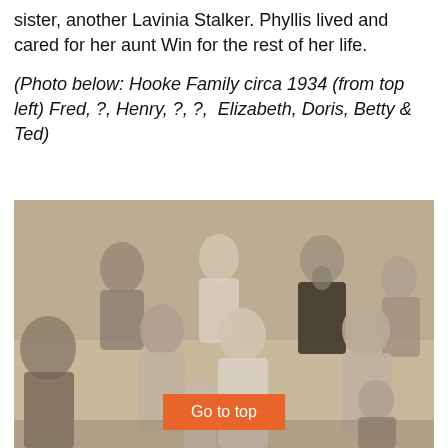sister, another Lavinia Stalker. Phyllis lived and cared for her aunt Win for the rest of her life.
(Photo below: Hooke Family circa 1934 (from top left) Fred, ?, Henry, ?, ?,  Elizabeth, Doris, Betty & Ted)
[Figure (photo): Black and white / sepia group family photograph of the Hooke Family circa 1934, showing multiple generations posing together outdoors.]